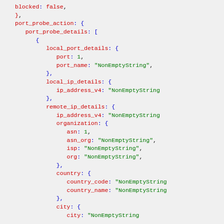Code snippet showing JSON/YAML-like structure with fields: blocked: false, port_probe_action, port_probe_details, local_port_details, port, port_name, local_ip_details, ip_address_v4, remote_ip_details, ip_address_v4, organization, asn, asn_org, isp, org, country, country_code, country_name, city